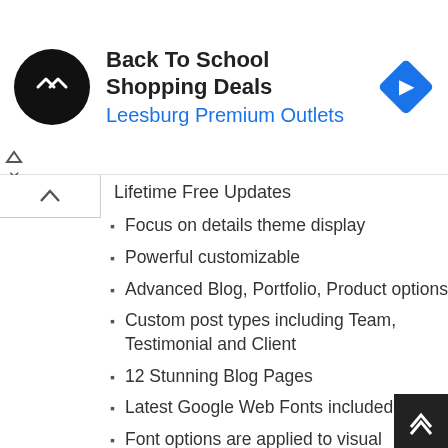[Figure (screenshot): Ad banner with black circular logo containing double arrow symbol, text 'Back To School Shopping Deals' and 'Leesburg Premium Outlets' in blue, and a blue diamond navigation icon on the right.]
Lifetime Free Updates
Focus on details theme display
Powerful customizable
Advanced Blog, Portfolio, Product options
Custom post types including Team, Testimonial and Client
12 Stunning Blog Pages
Latest Google Web Fonts included
Font options are applied to visual elements
Ready for translation (.pot, .po & .mo files included)
WPML Multilanguage ready
Compatible with Contact Form 7
WooCommerce Integration
Built for the performance! Greate experience!